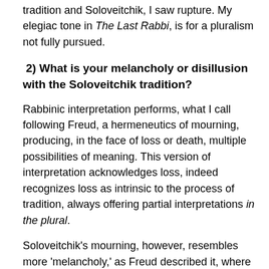tradition and Soloveitchik, I saw rupture. My elegiac tone in The Last Rabbi, is for a pluralism not fully pursued.
2) What is your melancholy or disillusion with the Soloveitchik tradition?
Rabbinic interpretation performs, what I call following Freud, a hermeneutics of mourning, producing, in the face of loss or death, multiple possibilities of meaning. This version of interpretation acknowledges loss, indeed recognizes loss as intrinsic to the process of tradition, always offering partial interpretations in the plural.
Soloveitchik's mourning, however, resembles more 'melancholy,' as Freud described it, where the devastation of loss (for Soloveitchik, personal, historical, existential) leads to a desire for a full compensation for loss. Unlike Talmudic 'mourning' which accommodates difference and